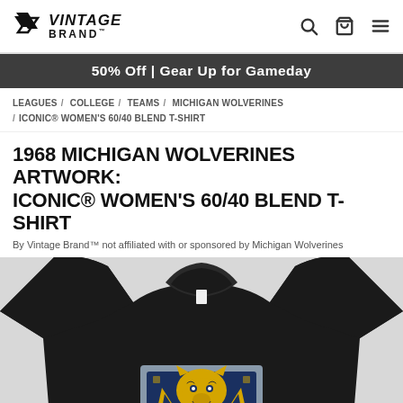VINTAGE BRAND
50% Off | Gear Up for Gameday
LEAGUES / COLLEGE / TEAMS / MICHIGAN WOLVERINES / ICONIC® WOMEN'S 60/40 BLEND T-SHIRT
1968 MICHIGAN WOLVERINES ARTWORK: ICONIC® WOMEN'S 60/40 BLEND T-SHIRT
By Vintage Brand™ not affiliated with or sponsored by Michigan Wolverines
[Figure (photo): Black long-sleeve women's t-shirt featuring a Michigan Wolverines wolverine mascot graphic in blue and gold, shown from the front/upper portion.]